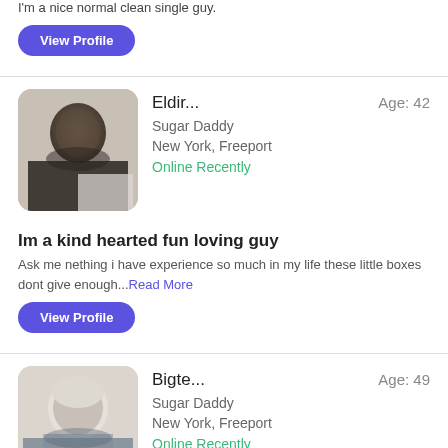I'm a nice normal clean single guy.
View Profile
Eldir...  Age: 42
Sugar Daddy
New York, Freeport
Online Recently
[Figure (photo): Blurred profile photo of a man, dark hair, seated indoors]
Im a kind hearted fun loving guy
Ask me nething i have experience so much in my life these little boxes dont give enough...Read More
View Profile
Bigte...  Age: 49
Sugar Daddy
New York, Freeport
Online Recently
[Figure (photo): Blurred profile photo of an older man with grey/white hair outdoors]